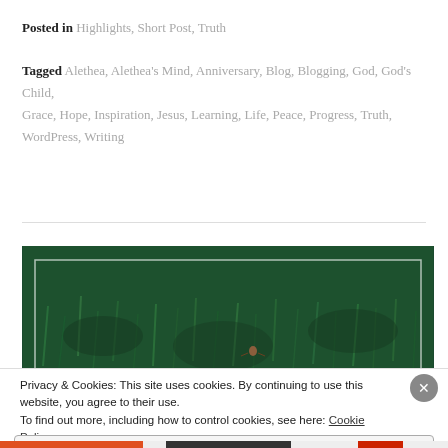Posted in Highlights, Short Post, Truth
Tagged Alethea, Alethea's Mind, Anniversary, Blog, Blogging, God, God's Child, Grace, Hope, Inspiration, Jesus, Learning, Life, Peace, Progress, Truth, WordPress, Writing
[Figure (photo): Photo of green grass field with a small figure/insect visible, shown with a white border frame overlay. Image appears dark green in tone.]
Privacy & Cookies: This site uses cookies. By continuing to use this website, you agree to their use.
To find out more, including how to control cookies, see here: Cookie Policy
Close and accept